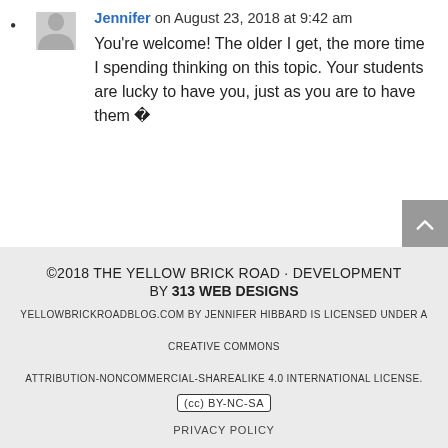Jennifer on August 23, 2018 at 9:42 am
You're welcome! The older I get, the more time I spending thinking on this topic. Your students are lucky to have you, just as you are to have them 🙂
©2018 THE YELLOW BRICK ROAD · DEVELOPMENT BY 313 WEB DESIGNS
YELLOWBRICKROADBLOG.COM BY JENNIFER HIBBARD IS LICENSED UNDER A
CREATIVE COMMONS
ATTRIBUTION-NONCOMMERCIAL-SHAREALIKE 4.0 INTERNATIONAL LICENSE.
(cc) BY-NC-SA
PRIVACY POLICY